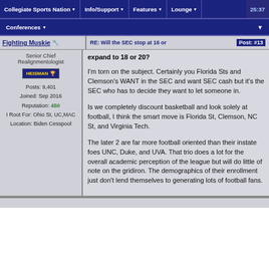Collegiate Sports Nation | Info/Support | Features | Lounge | Conferences
RE: Will the SEC stop at 16 or expand to 18 or 20? Post: #13
Fighting Muskie - Senior Chief Realignmentologist - Posts: 9,401 - Joined: Sep 2016 - Reputation: 450 - I Root For: Ohio St, UC,MAC - Location: Biden Cesspool
expand to 18 or 20?

I'm torn on the subject. Certainly you Florida Sts and Clemson's WANT in the SEC and want SEC cash but it's the SEC who has to decide they want to let someone in.

Is we completely discount basketball and look solely at football, I think the smart move is Florida St, Clemson, NC St, and Virginia Tech.

The later 2 are far more football oriented than their instate foes UNC, Duke, and UVA. That trio does a lot for the overall academic perception of the league but will do little of note on the gridiron. The demographics of their enrollment just don't lend themselves to generating lots of football fans.